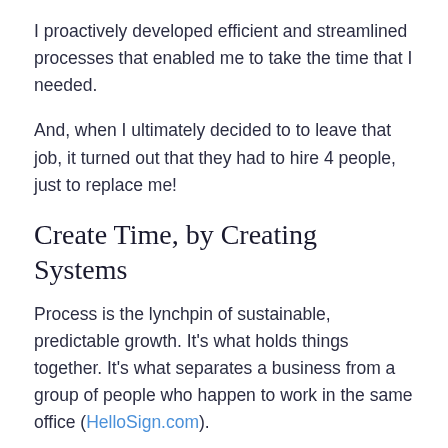I proactively developed efficient and streamlined processes that enabled me to take the time that I needed.
And, when I ultimately decided to to leave that job, it turned out that they had to hire 4 people, just to replace me!
Create Time, by Creating Systems
Process is the lynchpin of sustainable, predictable growth. It's what holds things together. It's what separates a business from a group of people who happen to work in the same office (HelloSign.com).